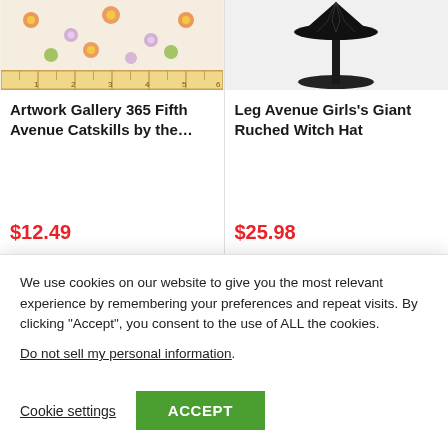[Figure (photo): Product image: floral fabric with ruler showing measurement markings]
Artwork Gallery 365 Fifth Avenue Catskills by the…
$12.49
[Figure (photo): Product image: black witch hat on a stand]
Leg Avenue Girls's Giant Ruched Witch Hat
$25.98
[Figure (photo): Bottom strip: partial product thumbnails with heart icons visible]
We use cookies on our website to give you the most relevant experience by remembering your preferences and repeat visits. By clicking “Accept”, you consent to the use of ALL the cookies.
Do not sell my personal information.
Cookie settings
ACCEPT